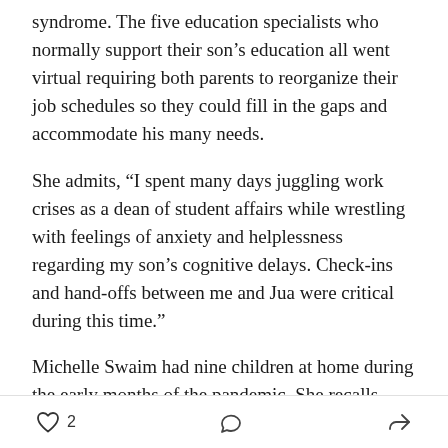syndrome. The five education specialists who normally support their son's education all went virtual requiring both parents to reorganize their job schedules so they could fill in the gaps and accommodate his many needs.
She admits, “I spent many days juggling work crises as a dean of student affairs while wrestling with feelings of anxiety and helplessness regarding my son’s cognitive delays. Check-ins and hand-offs between me and Jua were critical during this time.”
Michelle Swaim had nine children at home during the early months of the pandemic. She recalls, “The first phase was bedlam. Imagine trying to keep track of nine different sets of passwords for Zoom classes and
2